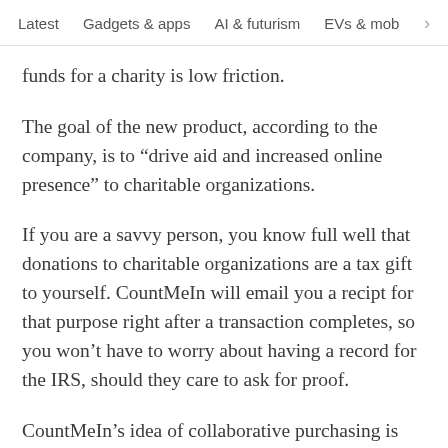Latest   Gadgets & apps   AI & futurism   EVs & mobil  >
funds for a charity is low friction.
The goal of the new product, according to the company, is to “drive aid and increased online presence” to charitable organizations.
If you are a savvy person, you know full well that donations to charitable organizations are a tax gift to yourself. CountMeIn will email you a recipt for that purpose right after a transaction completes, so you won’t have to worry about having a record for the IRS, should they care to ask for proof.
CountMeIn’s idea of collaborative purchasing is certainly interesting. How effective the company will